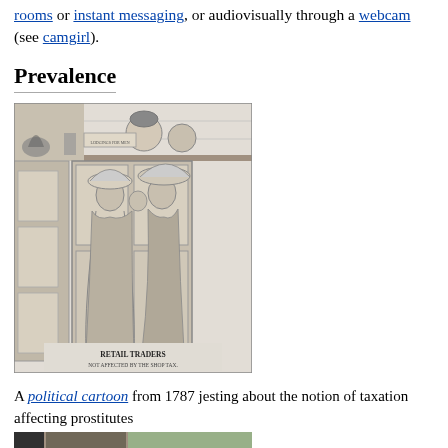rooms or instant messaging, or audiovisually through a webcam (see camgirl).
Prevalence
[Figure (illustration): A historical political cartoon from 1787 titled 'RETAIL TRADERS NOT AFFECTED BY THE SHOP TAX' showing women in large hats and period dresses standing in a doorway, with men's heads visible above a ledge.]
A political cartoon from 1787 jesting about the notion of taxation affecting prostitutes
[Figure (photo): Bottom strip of a photograph, partially visible]